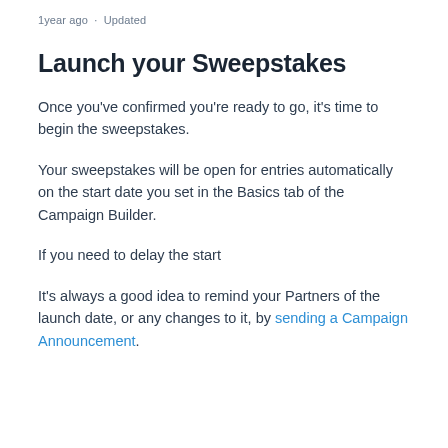1 year ago · Updated
Launch your Sweepstakes
Once you've confirmed you're ready to go, it's time to begin the sweepstakes.
Your sweepstakes will be open for entries automatically on the start date you set in the Basics tab of the Campaign Builder.
If you need to delay the start
It's always a good idea to remind your Partners of the launch date, or any changes to it, by sending a Campaign Announcement.